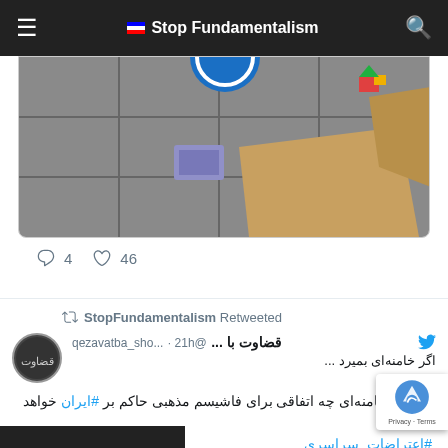Stop Fundamentalism
[Figure (screenshot): Partial tweet showing a photo of a pavement with items on the ground, a blue circle visible at top center. Below the image are engagement icons: comment (4) and like (46).]
4
46
StopFundamentalism Retweeted
قضاوت با ... @qezavatba_sho... · 21h
اگر خامنه‌ای بمیرد ...
با مرگ خامنه‌ای چه اتفاقی برای فاشیسم مذهبی حاکم بر #ایران خواهد افتاد؟
#اعتراضات_سراسری